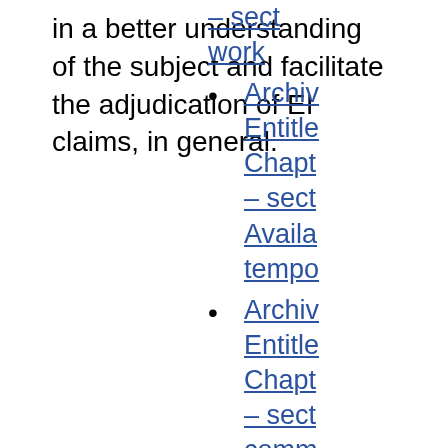in a better understanding of the subject and facilitate the adjudication of EI claims, in general.
– sect work
Archiv Entitled Chapt – sect Availa tempo
Archiv Entitled Chapt – sect comm
Archiv Entitled Chapt